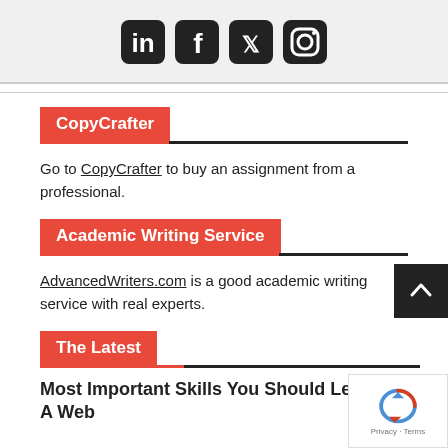[Figure (other): Social media icons bar: LinkedIn, Facebook, Twitter, Instagram]
CopyCrafter
Go to CopyCrafter to buy an assignment from a professional.
Academic Writing Service
AdvancedWriters.com is a good academic writing service with real experts.
The Latest
Most Important Skills You Should Learn As A Web